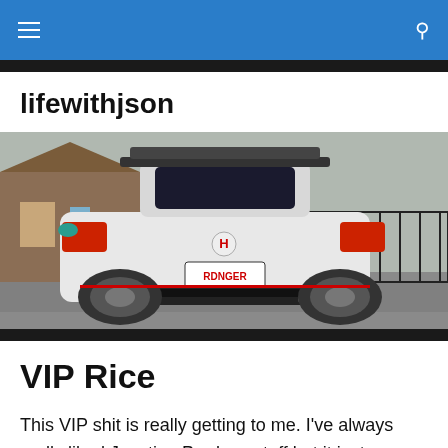lifewithjson — navigation bar
lifewithjson
[Figure (photo): Rear view of a white Honda Civic Type R with a large spoiler and custom body kit, parked on a wet residential street. License plate reads RDNGER. Black iron fence and suburban houses visible in background.]
VIP Rice
This VIP shit is really getting to me. I've always really liked Junction Produce stuff but it just wouldn't flow with my car no matter how much I wanted it to. When JC got his